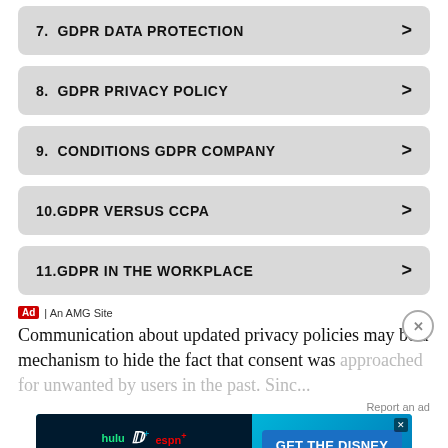7. GDPR DATA PROTECTION
8. GDPR PRIVACY POLICY
9. CONDITIONS GDPR COMPANY
10.GDPR VERSUS CCPA
11.GDPR IN THE WORKPLACE
Ad | An AMG Site
Communication about updated privacy policies may be a mechanism to hide the fact that consent was approached for unwanted by users in the past. Since...
Report an ad
[Figure (screenshot): Disney Bundle advertisement banner featuring Hulu, Disney+, and ESPN+ logos with 'GET THE DISNEY BUNDLE' call to action. Fine print: Incl. Hulu (ad-supported) or Hulu (No Ads). Access content from each service separately. ©2021 Disney and its related entities.]